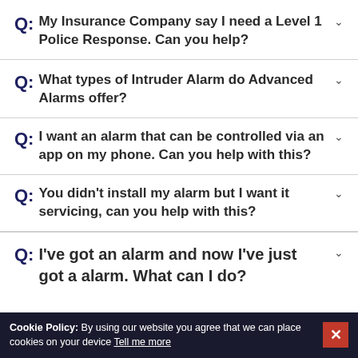Q: My Insurance Company say I need a Level 1 Police Response. Can you help?
Q: What types of Intruder Alarm do Advanced Alarms offer?
Q: I want an alarm that can be controlled via an app on my phone. Can you help with this?
Q: You didn't install my alarm but I want it servicing, can you help with this?
Q: I've got an alarm and now I've just got a alarm. What can I do?
Cookie Policy: By using our website you agree that we can place cookies on your device Tell me more